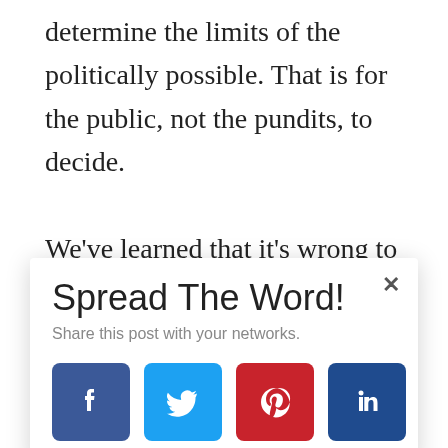determine the limits of the politically possible. That is for the public, not the pundits, to decide.

We've learned that it's wrong to aim too high, with a focus on national elections that neglects local and state organizing. And when it comes to a movement's
Spread The Word!
Share this post with your networks.
[Figure (infographic): Social share buttons: Facebook (dark blue), Twitter (light blue), Pinterest (red), LinkedIn (dark blue)]